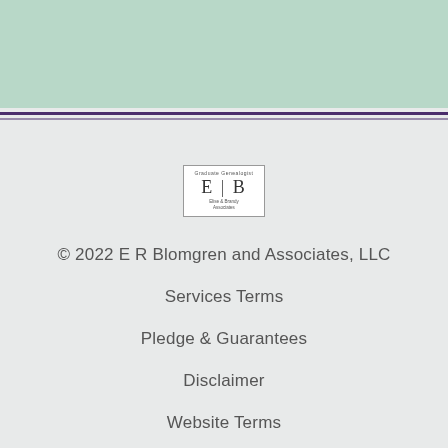[Figure (logo): E R Blomgren and Associates LLC logo with E|B text in serif font inside a bordered box]
© 2022 E R Blomgren and Associates, LLC
Services Terms
Pledge & Guarantees
Disclaimer
Website Terms
Risk